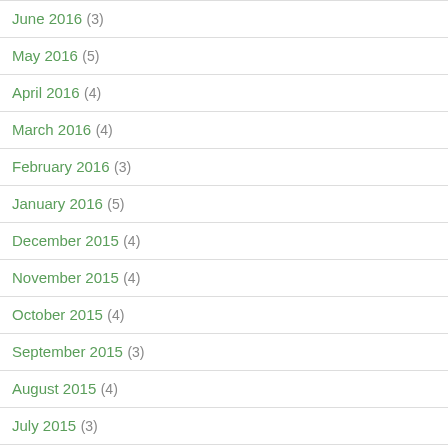June 2016 (3)
May 2016 (5)
April 2016 (4)
March 2016 (4)
February 2016 (3)
January 2016 (5)
December 2015 (4)
November 2015 (4)
October 2015 (4)
September 2015 (3)
August 2015 (4)
July 2015 (3)
June 2015 (4)